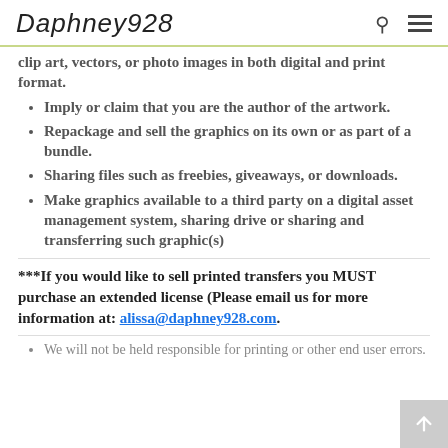Daphney928
clip art, vectors, or photo images in both digital and print format.
Imply or claim that you are the author of the artwork.
Repackage and sell the graphics on its own or as part of a bundle.
Sharing files such as freebies, giveaways, or downloads.
Make graphics available to a third party on a digital asset management system, sharing drive or sharing and transferring such graphic(s)
***If you would like to sell printed transfers you MUST purchase an extended license (Please email us for more information at: alissa@daphney928.com.
We will not be held responsible for printing or other end user errors.